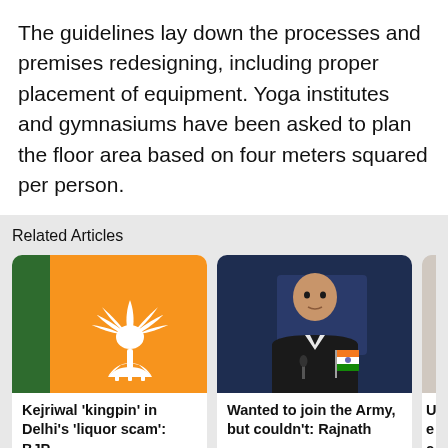The guidelines lay down the processes and premises redesigning, including proper placement of equipment. Yoga institutes and gymnasiums have been asked to plan the floor area based on four meters squared per person.
Related Articles
[Figure (photo): BJP lotus symbol on orange and green background]
Kejriwal 'kingpin' in Delhi's 'liquor scam': BJP
[Figure (photo): Photo of Rajnath Singh seated at a table with Indian flag in background]
Wanted to join the Army, but couldn't: Rajnath
"Persons above 65 years of age, persons with